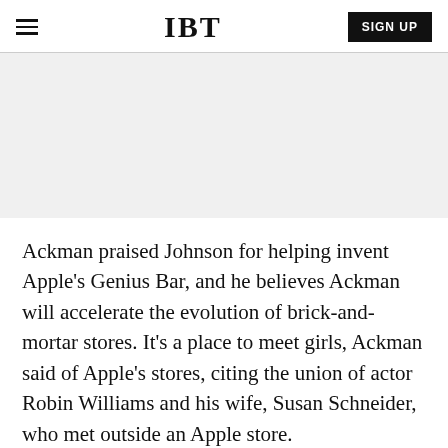IBT
[Figure (other): Gray advertisement/placeholder area]
Ackman praised Johnson for helping invent Apple's Genius Bar, and he believes Ackman will accelerate the evolution of brick-and-mortar stores. It's a place to meet girls, Ackman said of Apple's stores, citing the union of actor Robin Williams and his wife, Susan Schneider, who met outside an Apple store.